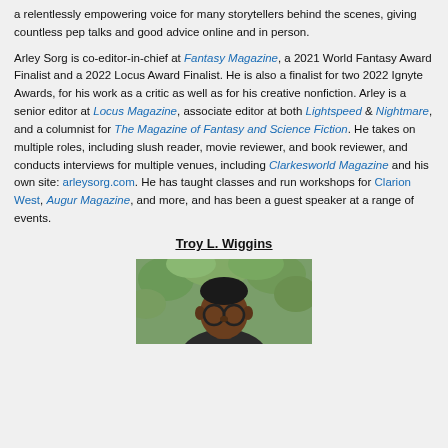a relentlessly empowering voice for many storytellers behind the scenes, giving countless pep talks and good advice online and in person.
Arley Sorg is co-editor-in-chief at Fantasy Magazine, a 2021 World Fantasy Award Finalist and a 2022 Locus Award Finalist. He is also a finalist for two 2022 Ignyte Awards, for his work as a critic as well as for his creative nonfiction. Arley is a senior editor at Locus Magazine, associate editor at both Lightspeed & Nightmare, and a columnist for The Magazine of Fantasy and Science Fiction. He takes on multiple roles, including slush reader, movie reviewer, and book reviewer, and conducts interviews for multiple venues, including Clarkesworld Magazine and his own site: arleysorg.com. He has taught classes and run workshops for Clarion West, Augur Magazine, and more, and has been a guest speaker at a range of events.
Troy L. Wiggins
[Figure (photo): Portrait photo of Troy L. Wiggins, a person with dark skin and round glasses, photographed outdoors with green foliage in the background.]